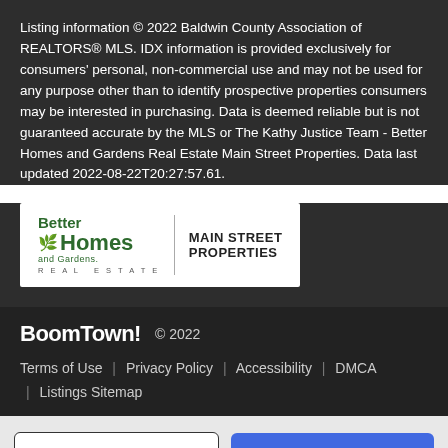Listing information © 2022 Baldwin County Association of REALTORS® MLS. IDX information is provided exclusively for consumers' personal, non-commercial use and may not be used for any purpose other than to identify prospective properties consumers may be interested in purchasing. Data is deemed reliable but is not guaranteed accurate by the MLS or The Kathy Justice Team - Better Homes and Gardens Real Estate Main Street Properties. Data last updated 2022-08-22T20:27:57.61.
[Figure (logo): Better Homes and Gardens Real Estate - Main Street Properties logo]
BoomTown! © 2022 | Terms of Use | Privacy Policy | Accessibility | DMCA | Listings Sitemap
Take a Tour
Ask A Question